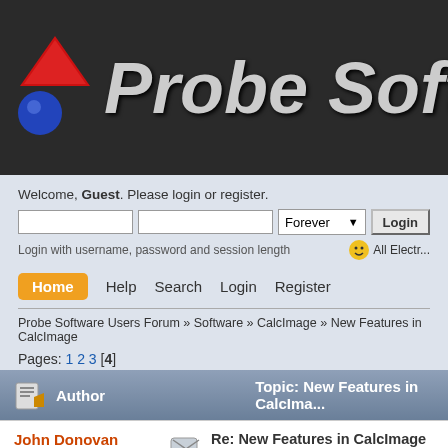[Figure (logo): Probe Software logo with red downward triangle, blue circle, and bold italic 'Probe Software' text on dark background]
Welcome, Guest. Please login or register.
Login with username, password and session length
All Electr...
Home
Help
Search
Login
Register
Probe Software Users Forum » Software » CalcImage » New Features in CalcImage
Pages: 1 2 3 [4]
Author   Topic: New Features in CalcIma...
John Donovan
Administrator
Emeritus
Re: New Features in CalcImage
« Reply #45 on: June 06, 2019, 08:50:18
Back in January starting with the release...